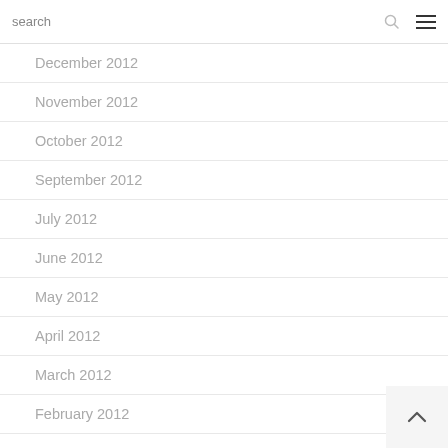search
December 2012
November 2012
October 2012
September 2012
July 2012
June 2012
May 2012
April 2012
March 2012
February 2012
January 2012
December 2011
November 2011